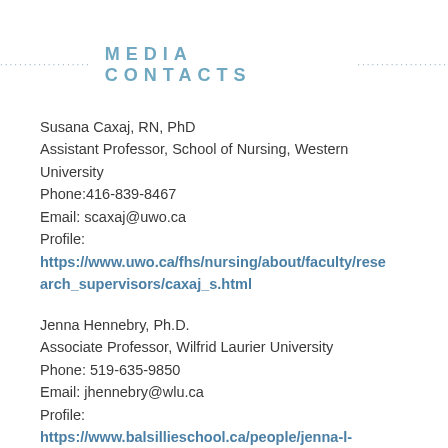MEDIA CONTACTS
Susana Caxaj, RN, PhD
Assistant Professor, School of Nursing, Western University
Phone:416-839-8467
Email: scaxaj@uwo.ca
Profile:
https://www.uwo.ca/fhs/nursing/about/faculty/research_supervisors/caxaj_s.html
Jenna Hennebry, Ph.D.
Associate Professor, Wilfrid Laurier University
Phone: 519-635-9850
Email: jhennebry@wlu.ca
Profile:
https://www.balsillieschool.ca/people/jenna-l-hennebry